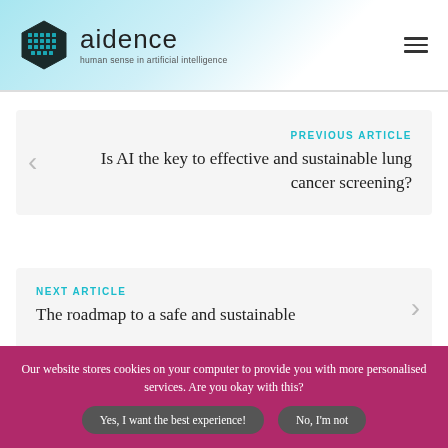[Figure (logo): Aidence company logo with hexagonal icon and text 'aidence - human sense in artificial intelligence']
PREVIOUS ARTICLE
Is AI the key to effective and sustainable lung cancer screening?
NEXT ARTICLE
The roadmap to a safe and sustainable
Our website stores cookies on your computer to provide you with more personalised services. Are you okay with this?